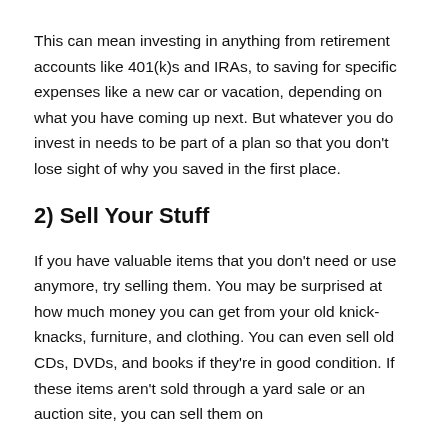This can mean investing in anything from retirement accounts like 401(k)s and IRAs, to saving for specific expenses like a new car or vacation, depending on what you have coming up next. But whatever you do invest in needs to be part of a plan so that you don't lose sight of why you saved in the first place.
2) Sell Your Stuff
If you have valuable items that you don't need or use anymore, try selling them. You may be surprised at how much money you can get from your old knick-knacks, furniture, and clothing. You can even sell old CDs, DVDs, and books if they're in good condition. If these items aren't sold through a yard sale or an auction site, you can sell them on